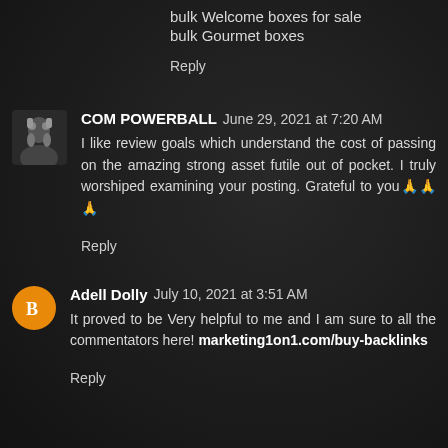bulk Welcome boxes for sale
bulk Gourmet boxes
Reply
COM POWERBALL  June 29, 2021 at 7:20 AM
I like review goals which understand the cost of passing on the amazing strong asset futile out of pocket. I truly worshiped examining your posting. Grateful to you🙏🙏🙏
Reply
Adell Dolly  July 10, 2021 at 3:51 AM
It proved to be Very helpful to me and I am sure to all the commentators here! marketing1on1.com/buy-backlinks
Reply